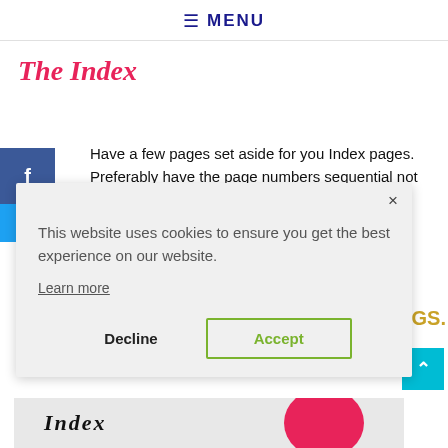≡ MENU
The Index
Have a few pages set aside for you Index pages. Preferably have the page numbers sequential not like I noted:
This website uses cookies to ensure you get the best experience on our website.
Learn more
DGS.
Decline  Accept